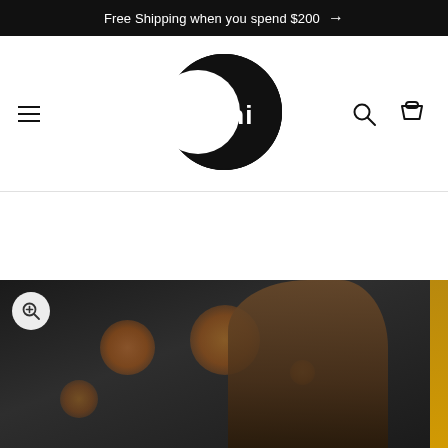Free Shipping when you spend $200 →
[Figure (logo): Luni brand logo: black circle with crescent moon cutout on left side and 'Luni' text in white inside the circle]
[Figure (photo): Product photo showing a woman with dark hair against a dark background with bokeh bokeh lights (orange/gold circles out of focus). A yellow/gold strip is visible on the right edge. A zoom/magnify button is in the top-left corner of the image.]